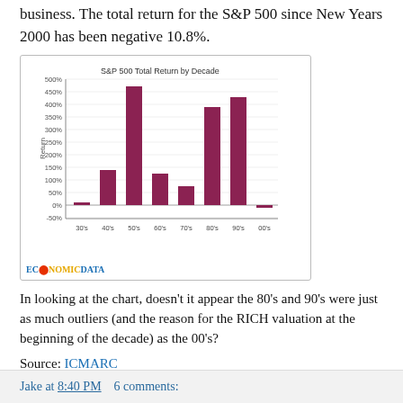business. The total return for the S&P 500 since New Years 2000 has been negative 10.8%.
[Figure (bar-chart): S&P 500 Total Return by Decade]
In looking at the chart, doesn't it appear the 80's and 90's were just as much outliers (and the reason for the RICH valuation at the beginning of the decade) as the 00's?
Source: ICMARC
Jake at 8:40 PM    6 comments: